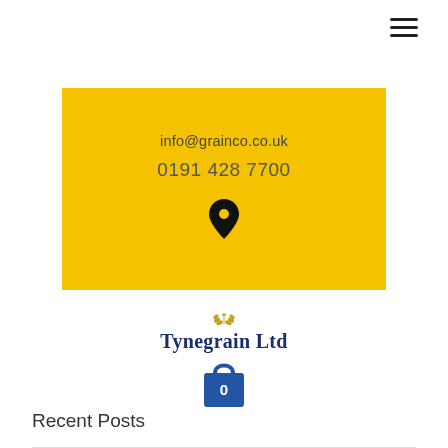[Figure (other): Hamburger menu icon (three horizontal lines) in top right corner]
info@grainco.co.uk
0191 428 7700
[Figure (other): Map pin / location icon in dark color on yellow background]
[Figure (logo): Tynegrain Ltd logo with wheat icon above the text]
[Figure (other): Blue shopping bag icon with number 0]
Recent Posts